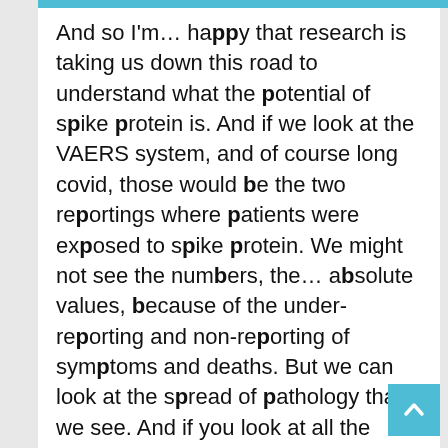And so I'm… happy that research is taking us down this road to understand what the potential of spike protein is. And if we look at the VAERS system, and of course long covid, those would be the two reportings where patients were exposed to spike protein. We might not see the numbers, the… absolute values, because of the under-reporting and non-reporting of symptoms and deaths. But we can look at the spread of pathology that we see. And if you look at all the reports on the VAERS system, the prediction of what spike protein might do biol– as a biologically active substance is exactly the spread of pathology that we see in the VAERS system. we see the endothelial injuries resulting in strokes and heart attacks and blood clots and